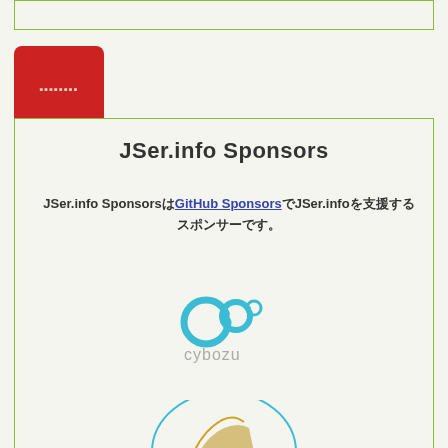[Figure (other): Top bordered box (green outline)]
[Figure (other): Red rounded button with Japanese text]
JSer.info Sponsors
JSer.info SponsorsはGitHub SponsorsでJSer.infoを支援するスポンサーです。
[Figure (logo): cybozu logo - blue circular bubbles with cybozu text]
[Figure (illustration): Partial circular illustration at bottom of page]